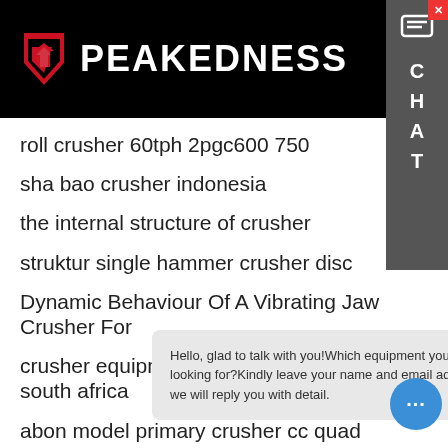PEAKEDNESS
roll crusher 60tph 2pgc600 750
sha bao crusher indonesia
the internal structure of crusher
struktur single hammer crusher disc
Dynamic Behaviour Of A Vibrating Jaw Crusher For
crusher equipment second hand in south africa
abon model primary crusher cc quad
crusher
rock crusher
Hello, glad to talk with you!Which equipment you are looking for?Kindly leave your name and email add, we will reply you with detail.